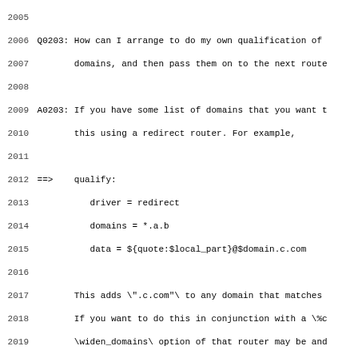2005
2006 Q0203: How can I arrange to do my own qualification of domains, and then pass them on to the next route
2007        domains, and then pass them on to the next route
2008
2009 A0203: If you have some list of domains that you want t
2010        this using a redirect router. For example,
2011
2012 ==>    qualify:
2013           driver = redirect
2014           domains = *.a.b
2015           data = ${quote:$local_part}@$domain.c.com
2016
2017        This adds ".c.com" to any domain that matches
2018        If you want to do this in conjunction with a \%c
2019        \widen_domains\ option of that router may be and
2020        what you want.
2021
2022
2023 Q0204: Every system has a "nobody" account under whic
2024        like to know how to restrict mail which comes fr
2025        on that host only.
2026
2027 A0204: Set up a first router like this:
2028
2029 ==>    fail_nobody:
2030           driver = redirect
2031           senders = nobody@your.domain
2032           domains = ! +local_domains
2033           allow_fail
2034           data = :fail: Nobody may not mail off-site
2035
2036        This assumes you have defined \+local_domains\ a
2037        configure this.